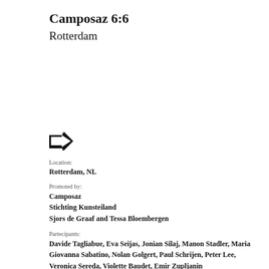Camposaz 6:6
Rotterdam
[Figure (logo): Black arrow/flag logo pointing right]
Location:
Rotterdam, NL
Promoted by:
Camposaz
Stichting Kunsteiland
Sjors de Graaf and Tessa Bloembergen
Partecipants:
Davide Tagliabue, Eva Seijas, Jonian Silaj, Manon Stadler, Maria Giovanna Sabatino, Nolan Golgert, Paul Schrijen, Peter Lee, Veronica Sereda, Violette Baudet, Emir Zupljanin